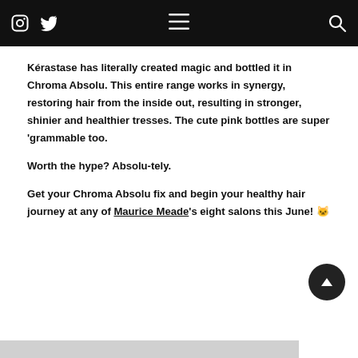Navigation bar with Instagram icon, Twitter icon, menu icon, and search icon
Kérastase has literally created magic and bottled it in Chroma Absolu. This entire range works in synergy, restoring hair from the inside out, resulting in stronger, shinier and healthier tresses. The cute pink bottles are super 'grammable too.
Worth the hype? Absolu-tely.
Get your Chroma Absolu fix and begin your healthy hair journey at any of Maurice Meade's eight salons this June! 🐱